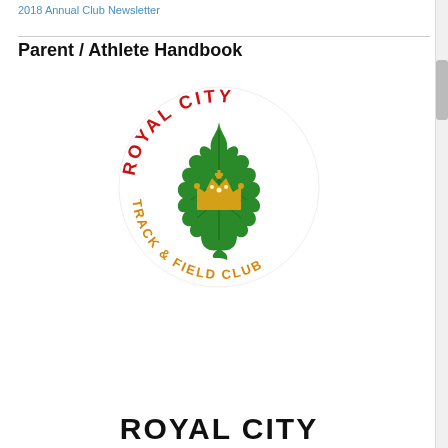2018 Annual Club Newsletter
Parent / Athlete Handbook
[Figure (logo): Royal City Track & Field Club circular logo featuring a green maple leaf with a gold crown in the center, red text 'ROYAL CITY' arching across the top, and gold/orange text 'TRACK & FIELD CLUB' arching across the bottom.]
ROYAL CITY